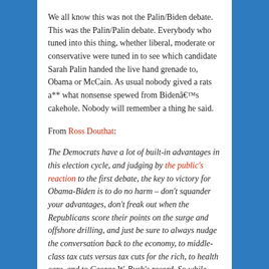We all know this was not the Palin/Biden debate. This was the Palin/Palin debate. Everybody who tuned into this thing, whether liberal, moderate or conservative were tuned in to see which candidate Sarah Palin handed the live hand grenade to, Obama or McCain. As usual nobody gived a rats a** what nonsense spewed from Bidenâ€™s cakehole. Nobody will remember a thing he said.
From Ross Douthat:
The Democrats have a lot of built-in advantages in this election cycle, and judging by the public’s reaction to the first debate, the key to victory for Obama-Biden is to do no harm – don’t squander your advantages, don’t freak out when the Republicans score their points on the surge and offshore drilling, and just be sure to always nudge the conversation back to the economy, to middle-class tax cuts versus tax cuts for the rich, to health care, and to George W. Bush’s record. So while Sarah Palin did an awful lot for Sarah Palin tonight, there was only so much she could do for her running mate – given her own limits, but especially given the state of the country, and the